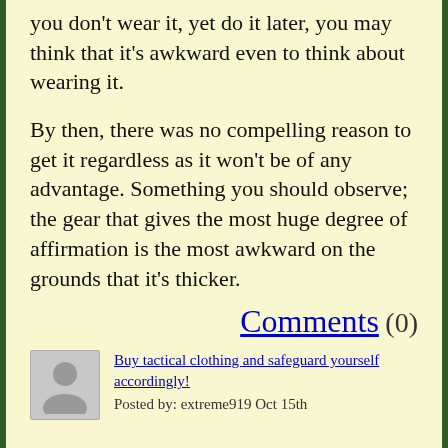you don't wear it, yet do it later, you may think that it's awkward even to think about wearing it.
By then, there was no compelling reason to get it regardless as it won't be of any advantage. Something you should observe; the gear that gives the most huge degree of affirmation is the most awkward on the grounds that it's thicker.
Comments (0)
Buy tactical clothing and safeguard yourself accordingly!
Posted by: extreme919 Oct 15th